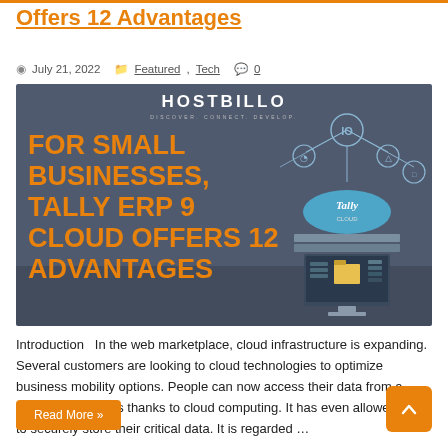Offers 12 Advantages
July 21, 2022  Featured, Tech  0
[Figure (illustration): Promotional banner image for Hostbillo featuring text 'FOR SMALL BUSINESSES, TALLY ERP 9 CLOUD OFFERS 12 ADVANTAGES' on a dark grey background with a cloud/technology illustration on the right side showing icons and a computer setup with the Tally logo.]
Introduction  In the web marketplace, cloud infrastructure is expanding. Several customers are looking to cloud technologies to optimize business mobility options. People can now access their data from a variety of locations thanks to cloud computing. It has even allowed them to securely store their critical data. It is regarded …
Read More »